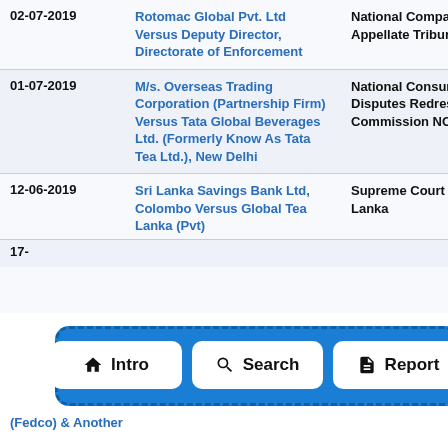| Date | Case | Court |
| --- | --- | --- |
| 02-07-2019 | Rotomac Global Pvt. Ltd Versus Deputy Director, Directorate of Enforcement | National Company Law Appellate Tribunal |
| 01-07-2019 | M/s. Overseas Trading Corporation (Partnership Firm) Versus Tata Global Beverages Ltd. (Formerly Know As Tata Tea Ltd.), New Delhi | National Consumer Disputes Redressal Commission NCDRC |
| 12-06-2019 | Sri Lanka Savings Bank Ltd, Colombo Versus Global Tea Lanka (Pvt) | Supreme Court of Sri Lanka |
| 17-… | (Fedco) & Another |  |
[Figure (infographic): Navigation bar overlay with blue dashed border containing three white buttons: Intro (home icon), Search (magnifier icon), Report (document icon)]